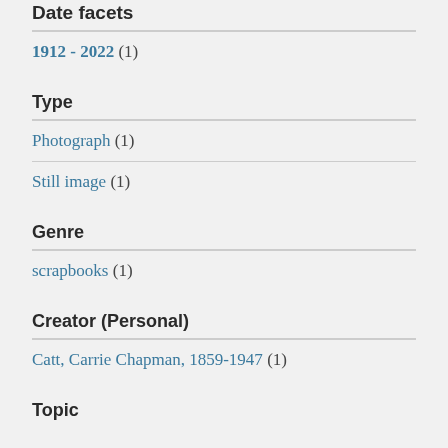Date facets
1912 - 2022 (1)
Type
Photograph (1)
Still image (1)
Genre
scrapbooks (1)
Creator (Personal)
Catt, Carrie Chapman, 1859-1947 (1)
Topic